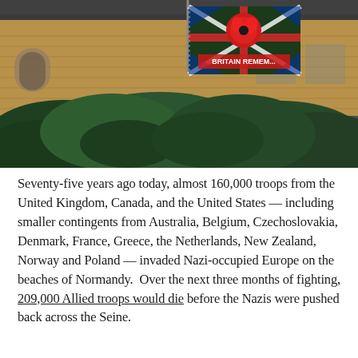[Figure (photo): A photograph of a building with a stone facade covered in green ivy, with a flagpole flying a 'Britain Remembers' flag featuring a red poppy overlaid on a Union Jack design.]
Seventy-five years ago today, almost 160,000 troops from the United Kingdom, Canada, and the United States — including smaller contingents from Australia, Belgium, Czechoslovakia, Denmark, France, Greece, the Netherlands, New Zealand, Norway and Poland — invaded Nazi-occupied Europe on the beaches of Normandy.  Over the next three months of fighting, 209,000 Allied troops would die before the Nazis were pushed back across the Seine.